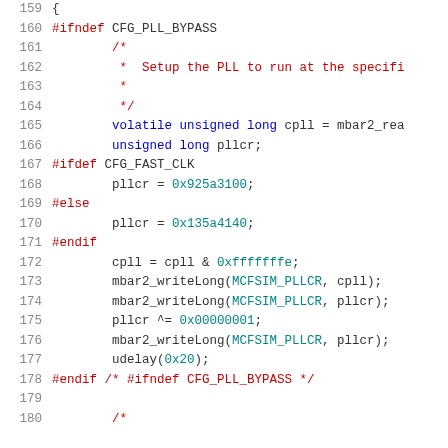[Figure (screenshot): Source code listing lines 159-180 showing C preprocessor directives and PLL configuration code with syntax highlighting. Lines include #ifndef CFG_PLL_BYPASS, comment block about Setup the PLL, volatile unsigned long cpll declaration, #ifdef CFG_FAST_CLK, pllcr assignments with hex values 0x925a3100 and 0x135a4140, and mbar2_writeLong/udelay function calls.]